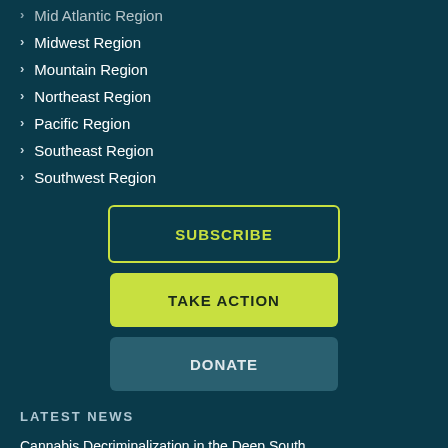Mid Atlantic Region
Midwest Region
Mountain Region
Northeast Region
Pacific Region
Southeast Region
Southwest Region
SUBSCRIBE
TAKE ACTION
DONATE
LATEST NEWS
Cannabis Decriminalization in the Deep South